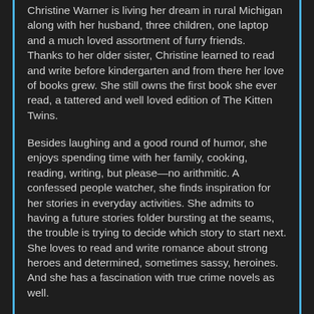Christine Warner is living her dream in rural Michigan along with her husband, three children, one laptop and a much loved assortment of furry friends. Thanks to her older sister, Christine learned to read and write before kindergarten and from there her love of books grew. She still owns the first book she ever read, a tattered and well loved edition of The Kitten Twins.
Besides laughing and a good round of humor, she enjoys spending time with her family, cooking, reading, writing, but please—no arithmitic. A confessed people watcher, she finds inspiration for her stories in everyday activities. She admits to having a future stories folder bursting at the seams, the trouble is trying to decide which story to start next. She loves to read and write romance about strong heroes and determined, sometimes sassy, heroines. And she has a fascination with true crime novels as well.